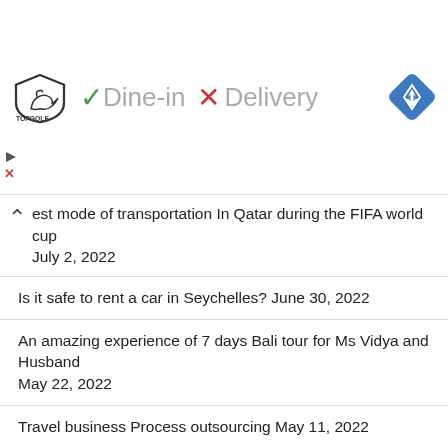[Figure (other): Advertisement banner with Topgolf logo, dine-in checkmark and delivery X mark, and navigation diamond icon]
est mode of transportation In Qatar during the FIFA world cup July 2, 2022
Is it safe to rent a car in Seychelles? June 30, 2022
An amazing experience of 7 days Bali tour for Ms Vidya and Husband May 22, 2022
Travel business Process outsourcing May 11, 2022
Covid PCR test in Bali May 11, 2022
Cab from Mahe Airport to hotel May 10, 2022
DMC of Seychelles May 8, 2022
Seychelles Tour packages from India May 8, 2022
Bali tour package from Chennai May 4, 2022